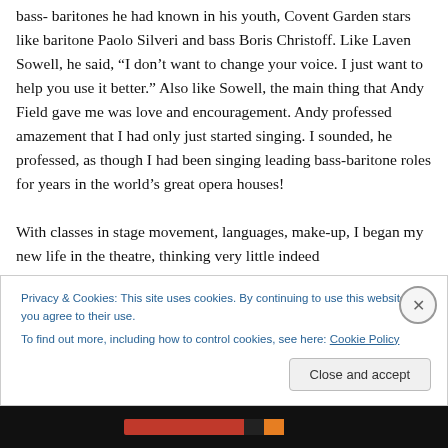bass- baritones he had known in his youth, Covent Garden stars like baritone Paolo Silveri and bass Boris Christoff. Like Laven Sowell, he said, “I don’t want to change your voice. I just want to help you use it better.” Also like Sowell, the main thing that Andy Field gave me was love and encouragement. Andy professed amazement that I had only just started singing. I sounded, he professed, as though I had been singing leading bass-baritone roles for years in the world’s great opera houses!

With classes in stage movement, languages, make-up, I began my new life in the theatre, thinking very little indeed
Privacy & Cookies: This site uses cookies. By continuing to use this website, you agree to their use.
To find out more, including how to control cookies, see here: Cookie Policy